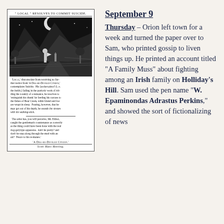[Figure (illustration): Newspaper clipping showing a woodcut illustration of a figure by a creek at night, with the headline '"LOCAL" RESOLVES TO COMMIT SUICIDE.' Below the image is a caption about 'Local' contemplating suicide, followed by a paragraph addressed to Mr. Editor, signed 'A Dog-be-Deviled Citizen.' and footer 'Scott Mass Meeting.']
September 9
Thursday – Orion left town for a week and turned the paper over to Sam, who printed gossip to liven things up. He printed an account titled "A Family Muss" about fighting among an Irish family on Holliday's Hill. Sam used the pen name "W. Epaminondas Adrastus Perkins," and showed the sort of fictionalizing of news